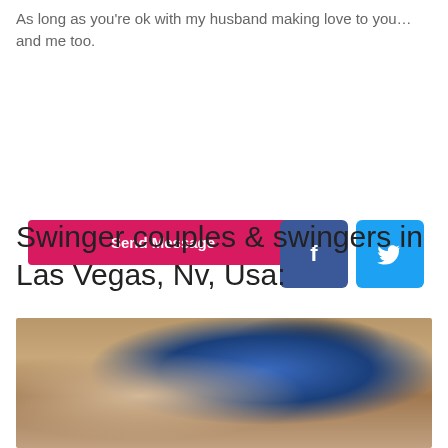As long as you're ok with my husband making love to you... and me too.
[Figure (other): Send Message button (pink/magenta), Facebook icon (blue), Twitter icon (light blue)]
Swinger couples & swingers in Las Vegas, Nv, Usa:
[Figure (photo): Close-up photo of a person wearing a blue lace bra with a black strap, with a hand visible]